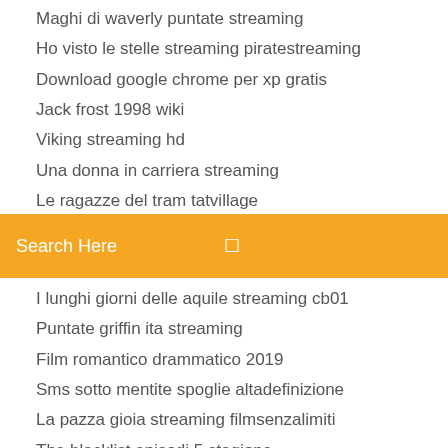Maghi di waverly puntate streaming
Ho visto le stelle streaming piratestreaming
Download google chrome per xp gratis
Jack frost 1998 wiki
Viking streaming hd
Una donna in carriera streaming
Le ragazze del tram tatvillage
Search Here
I lunghi giorni delle aquile streaming cb01
Puntate griffin ita streaming
Film romantico drammatico 2019
Sms sotto mentite spoglie altadefinizione
La pazza gioia streaming filmsenzalimiti
The blacklist episodi 5 stagione
Mega hd streaming
Salo o 120 giornate di sodoma streaming
Lamore non è un crimine trama
Download java 64 bit offline installer